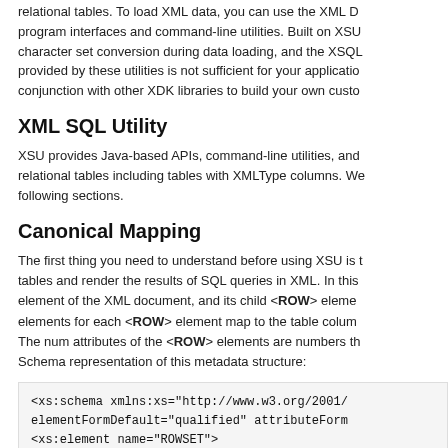relational tables. To load XML data, you can use the XML DB program interfaces and command-line utilities. Built on XSU, character set conversion during data loading, and the XSQL provided by these utilities is not sufficient for your application, conjunction with other XDK libraries to build your own custom
XML SQL Utility
XSU provides Java-based APIs, command-line utilities, and relational tables including tables with XMLType columns. We following sections.
Canonical Mapping
The first thing you need to understand before using XSU is tables and render the results of SQL queries in XML. In this element of the XML document, and its child <ROW> elements elements for each <ROW> element map to the table columns. The num attributes of the <ROW> elements are numbers th Schema representation of this metadata structure:
<xs:schema xmlns:xs="http://www.w3.org/2001/
elementFormDefault="qualified" attributeForm
<xs:element name="ROWSET">
<xs:complexType>
<xs:sequence>